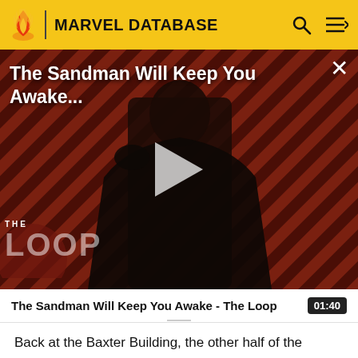MARVEL DATABASE
[Figure (screenshot): Video thumbnail for 'The Sandman Will Keep You Awake - The Loop' featuring a dark-robed figure against a red and black diagonal stripe background with 'THE LOOP' watermark overlay and a play button in the center.]
The Sandman Will Keep You Awake - The Loop  01:40
Back at the Baxter Building, the other half of the Fantastic Four continue to watch the documentary of their lives. The next segment is an interview with the Black Panther…